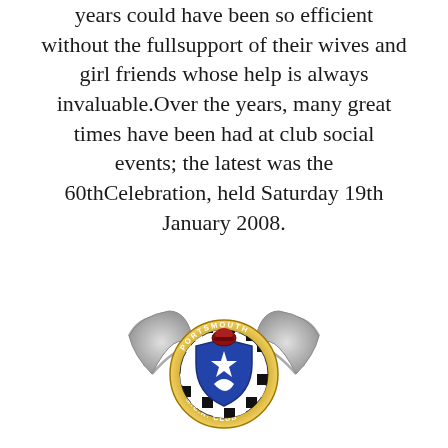years could have been so efficient without the fullsupport of their wives and girl friends whose help is always invaluable.Over the years, many great times have been had at club social events; the latest was the 60thCelebration, held Saturday 19th January 2008.
[Figure (logo): Portsmouth Motor Racing Club logo: a circular badge with a checkered border, a blue shield with a white star and crescent moon, a red helmet on top, gold ring with PORTSMOUTH M.C.R. CLUB text, flanked by silver wings on either side.]